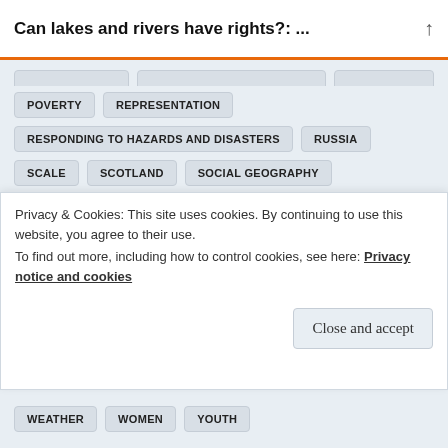Can lakes and rivers have rights?: ...
POVERTY
REPRESENTATION
RESPONDING TO HAZARDS AND DISASTERS
RUSSIA
SCALE
SCOTLAND
SOCIAL GEOGRAPHY
SOCIAL INEQUALITIES: LEVELLING UP AND DOWN
SUSTAINABILITY
TECHNOLOGY
TERRITORY
THE CARBON CYCLE AND RESOURCE EXTRACTION
THE GEOGRAPHICAL JOURNAL
TOURISM
TRANSACTIONS OF THE INSTITUTE OF BRITISH GEOGRAPHERS
Privacy & Cookies: This site uses cookies. By continuing to use this website, you agree to their use.
To find out more, including how to control cookies, see here: Privacy notice and cookies
Close and accept
WEATHER
WOMEN
YOUTH